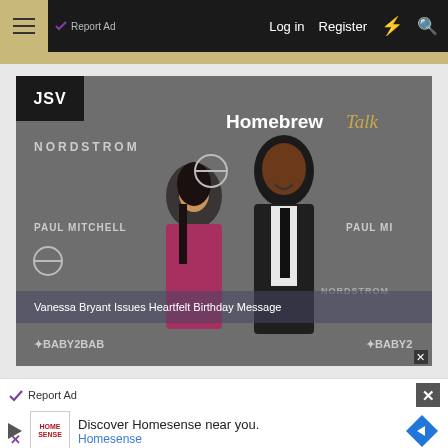Report Ad | Log in | Register
[Figure (photo): A couple posing at a red carpet event with Nordstrom, Paul Mitchell, Baby2Baby, and Volvo sponsor logos. Overlay text reads 'Homebrew Talk' and 'Vanessa Bryant Issues Heartfelt Birthday Message'. JSV badge in top-left corner.]
Homebrew Talk
Vanessa Bryant Issues Heartfelt Birthday Message
Report Ad | Discover Homesense near you. Homesense